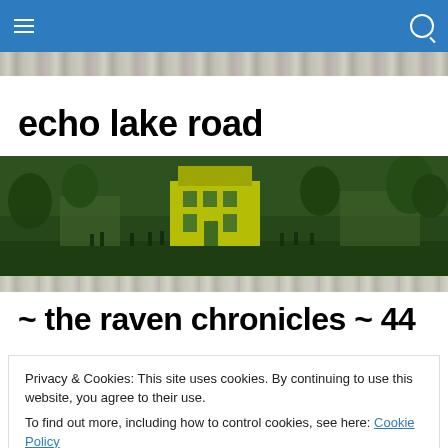echo lake road — navigation bar
[Figure (photo): Stone/gravel texture banner strip at top]
echo lake road
[Figure (photo): Vintage green-tinted photograph of a rural farmhouse scene with a yellow highlighted house and people standing in front, wide panoramic banner]
[Figure (photo): Stone/gravel texture banner strip below hero image]
~ the raven chronicles ~ 44
Privacy & Cookies: This site uses cookies. By continuing to use this website, you agree to their use.
To find out more, including how to control cookies, see here: Cookie Policy
Close and accept